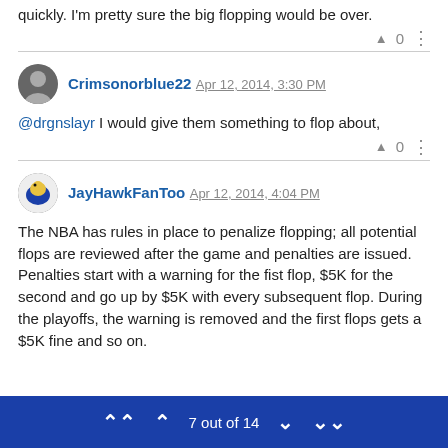quickly. I'm pretty sure the big flopping would be over.
▲ 0 ⋮
Crimsonorblue22  Apr 12, 2014, 3:30 PM
@drgnslayr I would give them something to flop about,
▲ 0 ⋮
JayHawkFanToo  Apr 12, 2014, 4:04 PM
The NBA has rules in place to penalize flopping; all potential flops are reviewed after the game and penalties are issued. Penalties start with a warning for the fist flop, $5K for the second and go up by $5K with every subsequent flop. During the playoffs, the warning is removed and the first flops gets a $5K fine and so on.
⋀⋀  ∧  7 out of 14  ∨  ⋁⋁